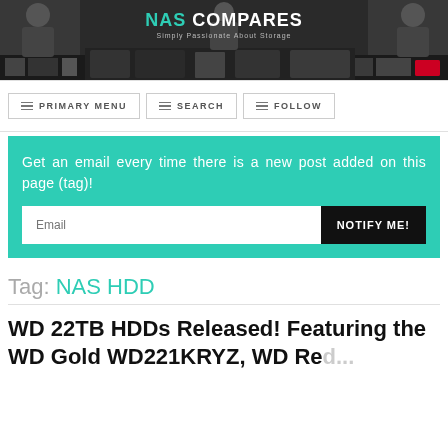[Figure (photo): NAS Compares website header banner showing two people with storage devices and the NAS Compares logo with tagline 'Simply Passionate About Storage']
PRIMARY MENU   SEARCH   FOLLOW
Get an email every time there is a new post added on this page (tag)!
Tag: NAS HDD
WD 22TB HDDs Released! Featuring the WD Gold WD221KRYZ, WD Red...